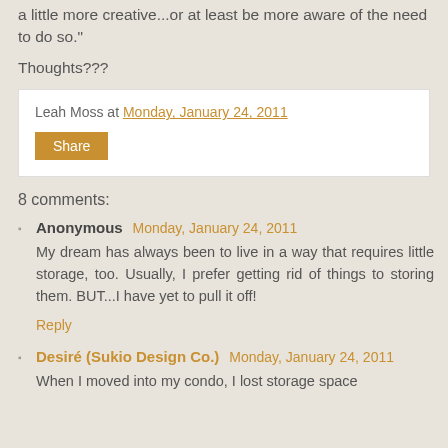a little more creative...or at least be more aware of the need to do so."
Thoughts???
Leah Moss at Monday, January 24, 2011
Share
8 comments:
Anonymous Monday, January 24, 2011
My dream has always been to live in a way that requires little storage, too. Usually, I prefer getting rid of things to storing them. BUT...I have yet to pull it off!
Reply
Desiré (Sukio Design Co.) Monday, January 24, 2011
When I moved into my condo, I lost storage space